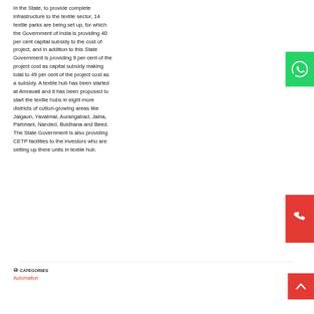In the State, to provide complete infrastructure to the textile sector, 14 textile parks are being set up, for which the Government of India is providing 40 per cent capital subsidy to the cost of project, and in addition to this State Government is providing 9 per cent of the project cost as capital subsidy making total to 49 per cent of the project cost as a subsidy. A textile hub has been started at Amravati and it has been proposed to start the textile hubs in eight more districts of cotton-growing areas like Jalgaon, Yavatmal, Aurangabad, Jalna, Parbhani, Nanded, Buldhana and Beed. The State Government is also providing CETP facilities to the investors who are setting up there units in textile hub.
CATEGORIES
Automation